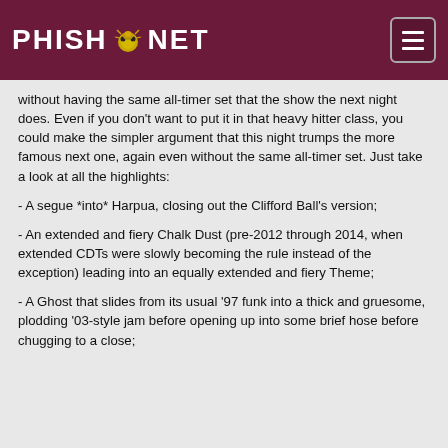PHISH.NET
without having the same all-timer set that the show the next night does. Even if you don't want to put it in that heavy hitter class, you could make the simpler argument that this night trumps the more famous next one, again even without the same all-timer set. Just take a look at all the highlights:
- A segue *into* Harpua, closing out the Clifford Ball's version;
- An extended and fiery Chalk Dust (pre-2012 through 2014, when extended CDTs were slowly becoming the rule instead of the exception) leading into an equally extended and fiery Theme;
- A Ghost that slides from its usual '97 funk into a thick and gruesome, plodding '03-style jam before opening up into some brief hose before chugging to a close;